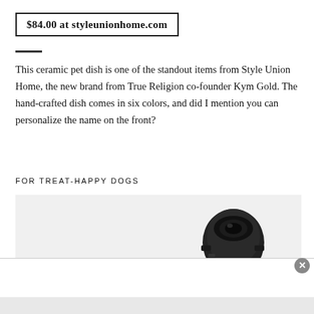$84.00 at styleunionhome.com
This ceramic pet dish is one of the standout items from Style Union Home, the new brand from True Religion co-founder Kym Gold. The hand-crafted dish comes in six colors, and did I mention you can personalize the name on the front?
FOR TREAT-HAPPY DOGS
[Figure (photo): Partial view of a black pet device/treat dispenser gadget on a light gray background, with a white advertisement overlay bar at the bottom containing a close (x) button]